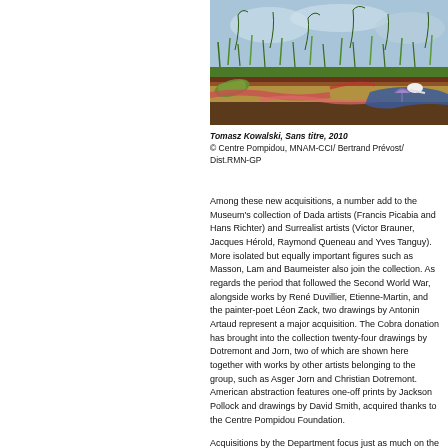[Figure (illustration): Horizontal panoramic artwork showing a cross-section of earth with grass and plants growing above ground, with colorful figures lying beneath the surface. Blue sky background with curling plant shoots. Artwork by Tomasz Kowalski, Sans titre, 2010.]
Tomasz Kowalski, Sans titre, 2010
© Centre Pompidou, MNAM-CCI/ Bertrand Prévost/ Dist.RMN-GP
Among these new acquisitions, a number add to the Museum's collection of Dada artists (Francis Picabia and Hans Richter) and Surrealist artists (Victor Brauner, Jacques Hérold, Raymond Queneau and Yves Tanguy). More isolated but equally important figures such as Masson, Lam and Baumeister also join the collection. As regards the period that followed the Second World War, alongside works by René Duvillier, Etienne-Martin, and the painter-poet Léon Zack, two drawings by Antonin Artaud represent a major acquisition. The Cobra donation has brought into the collection twenty-four drawings by Dotremont and Jorn, two of which are shown here together with works by other artists belonging to the group, such as Asger Jorn and Christian Dotremont. American abstraction features one-off prints by Jackson Pollock and drawings by David Smith, acquired thanks to the Centre Pompidou Foundation.
Acquisitions by the Department focus just as much on the contemporary scene and highly innovative work in the field of drawing. Here the French scene is strongly represented, with works by Gilles Barbier, Jean-Charles Blais...